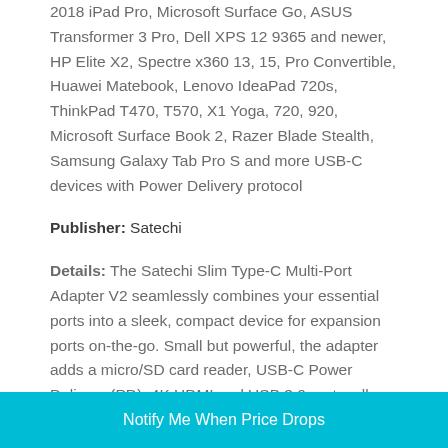2018 iPad Pro, Microsoft Surface Go, ASUS Transformer 3 Pro, Dell XPS 12 9365 and newer, HP Elite X2, Spectre x360 13, 15, Pro Convertible, Huawei Matebook, Lenovo IdeaPad 720s, ThinkPad T470, T570, X1 Yoga, 720, 920, Microsoft Surface Book 2, Razer Blade Stealth, Samsung Galaxy Tab Pro S and more USB-C devices with Power Delivery protocol
Publisher: Satechi
Details: The Satechi Slim Type-C Multi-Port Adapter V2 seamlessly combines your essential ports into a sleek, compact device for expansion ports on-the-go. Small but powerful, the adapter adds a micro/SD card reader, USB-C Power Delivery (PD), 4K HDMI and USB 3.0 ports, all from a single USB-C port. Keep it
Notify Me When Price Drops